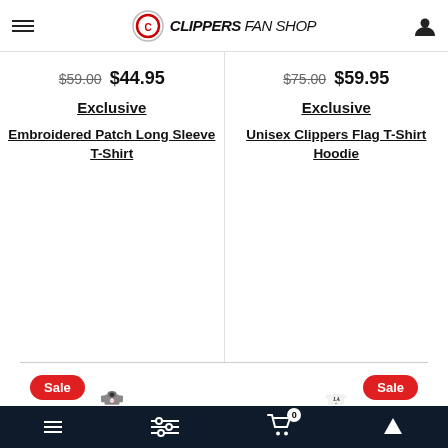Clippers Fan Shop
$59.00  $44.95 — Exclusive — Embroidered Patch Long Sleeve T-Shirt
$75.00  $59.95 — Exclusive — Unisex Clippers Flag T-Shirt Hoodie
[Figure (photo): Gray Clippers hoodie with face mask, Sale badge]
[Figure (photo): White Clippers LA T-shirt, Sale badge]
Navigation bar with hamburger, filter, cart (0), and up-arrow icons